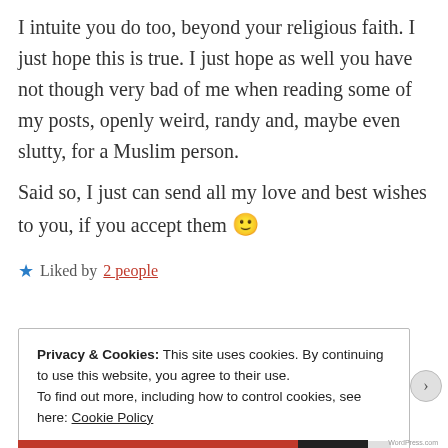I intuite you do too, beyond your religious faith. I just hope this is true. I just hope as well you have not though very bad of me when reading some of my posts, openly weird, randy and, maybe even slutty, for a Muslim person.
Said so, I just can send all my love and best wishes to you, if you accept them 🙂
★ Liked by 2 people
Privacy & Cookies: This site uses cookies. By continuing to use this website, you agree to their use.
To find out more, including how to control cookies, see here: Cookie Policy
Close and accept